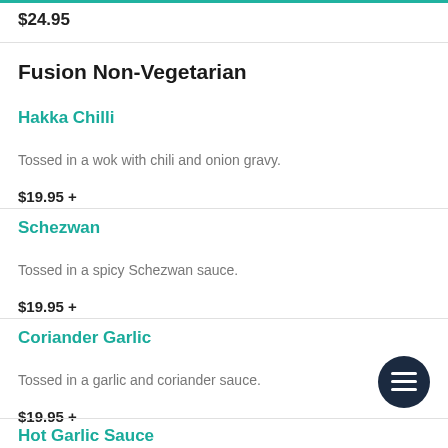$24.95
Fusion Non-Vegetarian
Hakka Chilli
Tossed in a wok with chili and onion gravy.
$19.95 +
Schezwan
Tossed in a spicy Schezwan sauce.
$19.95 +
Coriander Garlic
Tossed in a garlic and coriander sauce.
$19.95 +
Hot Garlic Sauce